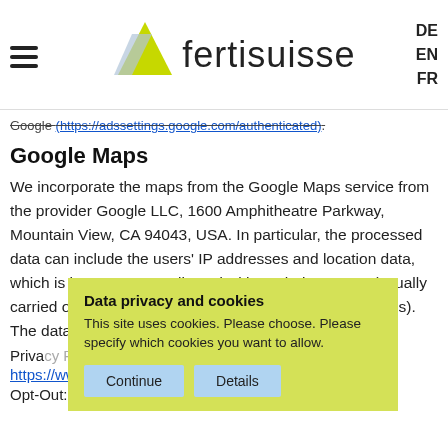fertisuisse — DE EN FR
Google (https://adssettings.google.com/authenticated).
Google Maps
We incorporate the maps from the Google Maps service from the provider Google LLC, 1600 Amphitheatre Parkway, Mountain View, CA 94043, USA. In particular, the processed data can include the users' IP addresses and location data, which is however, not collected without their consent (usually carried out in line with the settings on your mobile devices). The data can be processed in the USA.
Privacy Policy: https://www.google.com/policies/privacy/
Opt-Out: https://adssettings.google.com/authenticated
Data privacy and cookies
This site uses cookies. Please choose. Please specify which cookies you want to allow.
Continue   Details